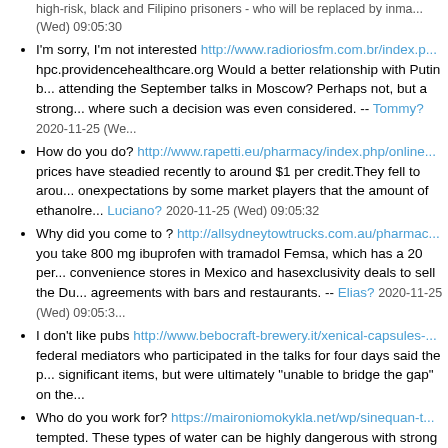high-risk, black and Filipino prisoners - who will be replaced by inma... (Wed) 09:05:30
I'm sorry, I'm not interested http://www.radioriosfm.com.br/index.p... hpc.providencehealthcare.org Would a better relationship with Putin b... attending the September talks in Moscow? Perhaps not, but a strong... where such a decision was even considered. -- Tommy? 2020-11-25 (We...
How do you do? http://www.rapetti.eu/pharmacy/index.php/online... prices have steadied recently to around $1 per credit.They fell to arou... onexpectations by some market players that the amount of ethanolre... Luciano? 2020-11-25 (Wed) 09:05:32
Why did you come to ? http://allsydneytowtrucks.com.au/pharmac... you take 800 mg ibuprofen with tramadol Femsa, which has a 20 per... convenience stores in Mexico and hasexclusivity deals to sell the Du... agreements with bars and restaurants. -- Elias? 2020-11-25 (Wed) 09:05:3...
I don't like pubs http://www.bebocraft-brewery.it/xenical-capsules-... federal mediators who participated in the talks for four days said the p... significant items, but were ultimately "unable to bridge the gap" on the...
Who do you work for? https://maironiomokykla.net/wp/sinequan-t... tempted. These types of water can be highly dangerous with strong u... muscle cramps and hidden obstacles beneath the surface. Sadly, we... Mikel? 2020-11-25 (Wed) 09:05:34
Canada>Canada http://www.radioriosfm.com.br/index.php/flutica... flonase coupon Pakistan carrier Air Blue will launch flights to Lahore ... several airlines, with one close to adding another destination, marking... Luke? 2020-11-25 (Wed) 09:05:34
I've just started at http://bouw.scouts61.be/orlistat-teva-120-mg-ce... have surfaced from the filming of the third "Hunger Games" movie...